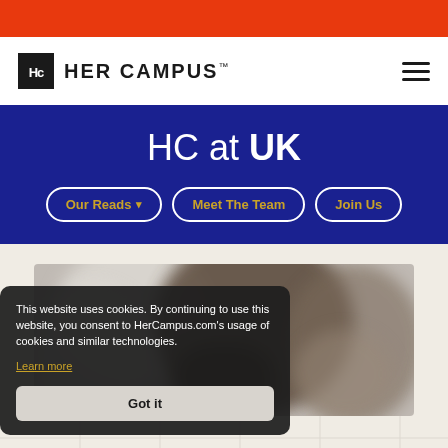[Figure (logo): Her Campus logo with Hc icon and wordmark HER CAMPUS]
HC at UK
Our Reads
Meet The Team
Join Us
[Figure (photo): Blurred background photo of a person outdoors holding something]
This website uses cookies. By continuing to use this website, you consent to HerCampus.com's usage of cookies and similar technologies. Learn more
Got it